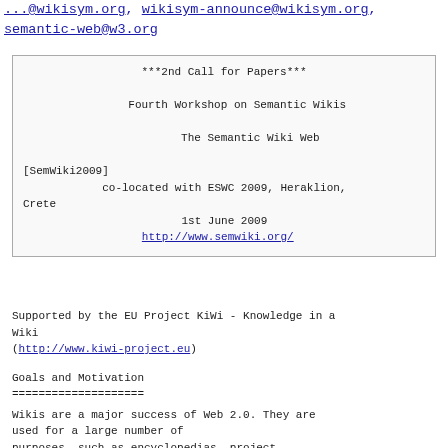...@wikisym.org, wikisym-announce@wikisym.org, semantic-web@w3.org
***2nd Call for Papers***
Fourth Workshop on Semantic Wikis
The Semantic Wiki Web
[SemWiki2009]
co-located with ESWC 2009, Heraklion, Crete
1st June 2009
http://www.semwiki.org/
Supported by the EU Project KiWi - Knowledge in a Wiki
(http://www.kiwi-project.eu)
Goals and Motivation
====================
Wikis are a major success of Web 2.0. They are used for a large number of purposes, such as encyclopedias, project documentation, and coordination, both in open communities and in enterprises. Wikis have